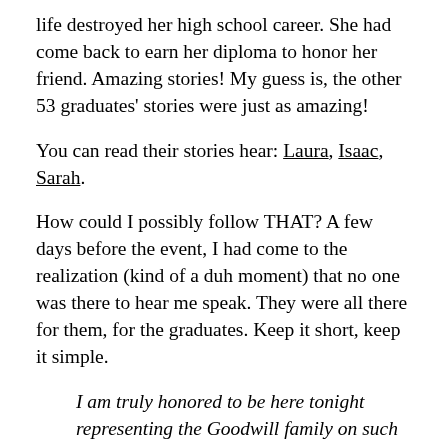life destroyed her high school career. She had come back to earn her diploma to honor her friend. Amazing stories! My guess is, the other 53 graduates' stories were just as amazing!
You can read their stories hear: Laura, Isaac, Sarah.
How could I possibly follow THAT? A few days before the event, I had come to the realization (kind of a duh moment) that no one was there to hear me speak. They were all there for them, for the graduates. Keep it short, keep it simple.
I am truly honored to be here tonight representing the Goodwill family on such a special occasion. We, your friends and family, your teachers and faculty, and Anderson